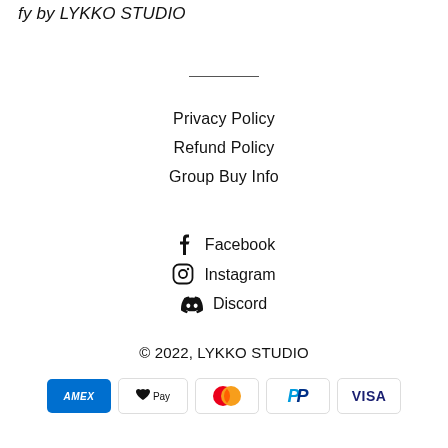fy by LYKKO STUDIO
Privacy Policy
Refund Policy
Group Buy Info
Facebook
Instagram
Discord
© 2022, LYKKO STUDIO
[Figure (other): Payment method icons: American Express, Apple Pay, Mastercard, PayPal, Visa]